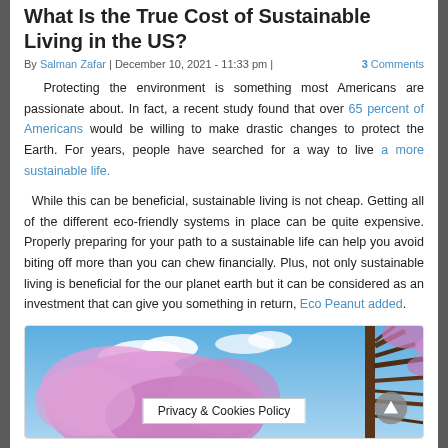What Is the True Cost of Sustainable Living in the US?
By Salman Zafar | December 10, 2021 - 11:33 pm | 3 Comments
Protecting the environment is something most Americans are passionate about. In fact, a recent study found that over 65 percent of Americans would be willing to make drastic changes to protect the Earth. For years, people have searched for a way to live a more sustainable life.
While this can be beneficial, sustainable living is not cheap. Getting all of the different eco-friendly systems in place can be quite expensive. Properly preparing for your path to a sustainable life can help you avoid biting off more than you can chew financially. Plus, not only sustainable living is beneficial for the our planet earth but it can be considered as an investment that can give you something in return, Eco Peanut added.
[Figure (photo): Blooming pink/purple trees against a blue sky background, partially visible at bottom of page, with a Privacy & Cookies Policy banner and scroll-to-top button overlaid.]